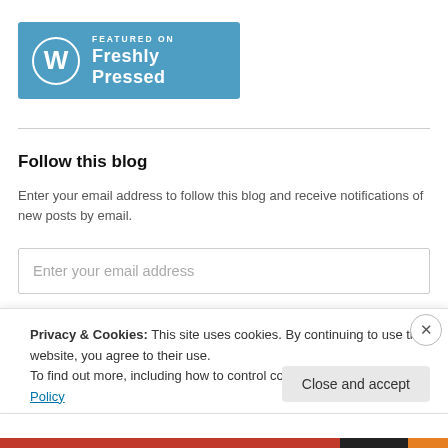[Figure (logo): WordPress 'Featured on Freshly Pressed' badge — blue banner with WordPress 'W' circle logo on the left, white text 'FEATURED ON' in small caps and 'Freshly Pressed' in larger bold text on the right]
Follow this blog
Enter your email address to follow this blog and receive notifications of new posts by email.
Enter your email address
Yeah, I want to subscribe!
Privacy & Cookies: This site uses cookies. By continuing to use this website, you agree to their use.
To find out more, including how to control cookies, see here: Cookie Policy
Close and accept